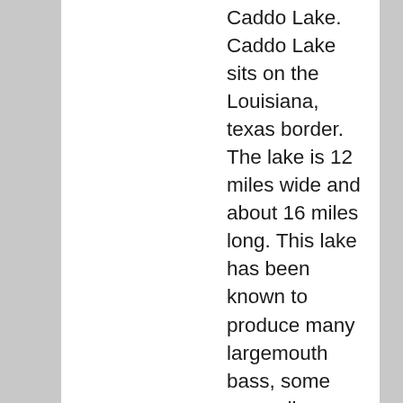Caddo Lake. Caddo Lake sits on the Louisiana, texas border. The lake is 12 miles wide and about 16 miles long. This lake has been known to produce many largemouth bass, some exceeding more than 16 pounds. Also around this same area is Lake Bistineau which is 17,200 acres of lake. Bass, catfish, crappie and bluegills call this lake home.
Caney Lake and Lake D’Arbonne both produce largemouth bass weighing more than 15 pounds. They also having some of the biggest sunfish in the state. These lakes also offer large crappie, yellow